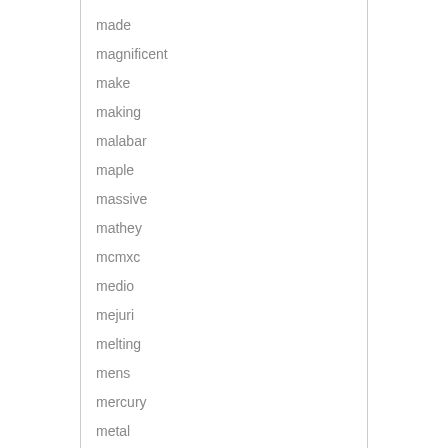made
magnificent
make
making
malabar
maple
massive
mathey
mcmxc
medio
mejuri
melting
mens
mercury
metal
mexican